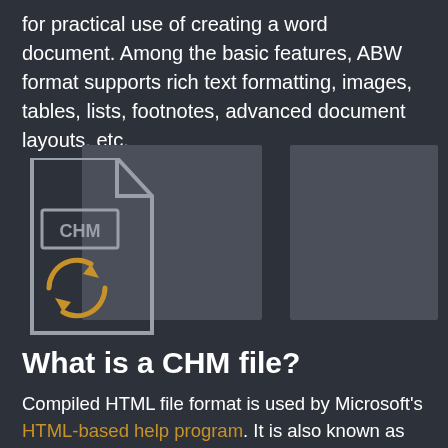for practical use of creating a word document. Among the basic features, ABW format supports rich text formatting, images, tables, lists, footnotes, advanced document layouts, etc.
[Figure (illustration): Two grey placeholder image boxes side by side, with a CHM file conversion icon (document with CHM label and circular arrows in orange/gold) overlaid on the left side]
What is a CHM file?
Compiled HTML file format is used by Microsoft's HTML-based help program. It is also known as CHM extension. This type of file format is created to help the contents of an associated application. It often includes text, images, and links. CHM files are also used...